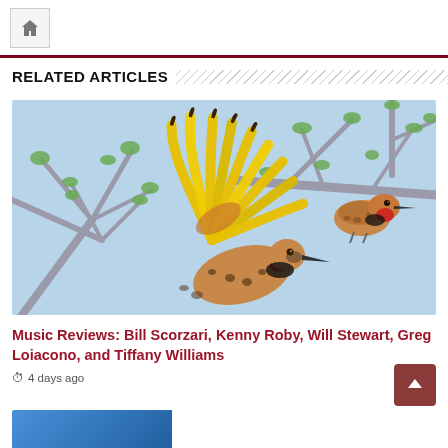Home icon / navigation bar
RELATED ARTICLES
[Figure (illustration): Illustrated artwork of birds on tree branches — a large bird with a yellow fan-shaped wing displayed in the center foreground, and a smaller bird with a red throat perched on a branch to the right. Tree branches with small green leaves fill the light blue background.]
Music Reviews: Bill Scorzari, Kenny Roby, Will Stewart, Greg Loiacono, and Tiffany Williams
4 days ago